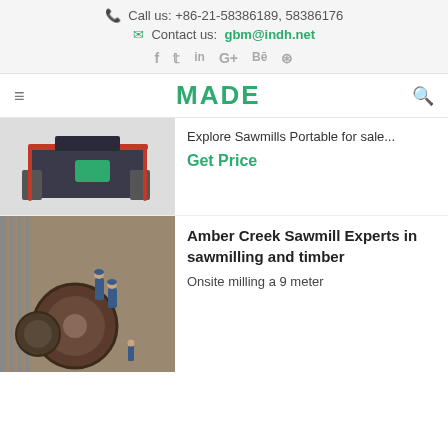Call us: +86-21-58386189, 58386176
Contact us: gbm@indh.net
[Figure (logo): Social media icons: Facebook, Twitter, LinkedIn, Google+, Behance, Dribbble]
[Figure (logo): MADE logo in green text with hamburger menu and search icon]
[Figure (photo): Industrial crusher/hammer mill machine in dark grey and red/green color]
Explore Sawmills Portable for sale...
Get Price
[Figure (photo): Workers in blue overalls working on large industrial mill/grinding equipment inside a warehouse]
Amber Creek Sawmill Experts in sawmilling and timber
Onsite milling a 9 meter